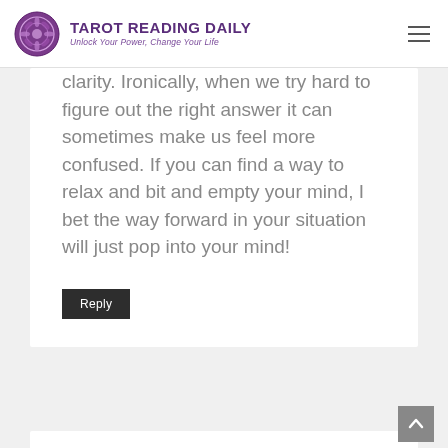TAROT READING DAILY – Unlock Your Power, Change Your Life
clarity. Ironically, when we try hard to figure out the right answer it can sometimes make us feel more confused. If you can find a way to relax and bit and empty your mind, I bet the way forward in your situation will just pop into your mind!
Reply
Martha A Ruvalcaba says:
July 1, 2020 at 5:09 am